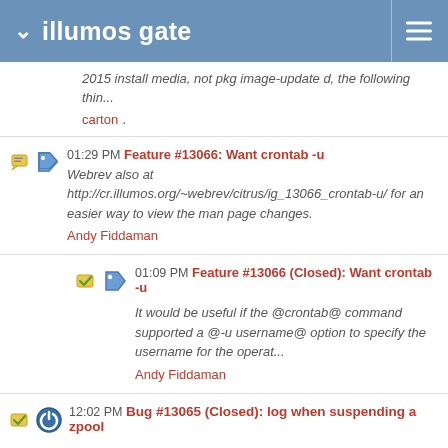illumos gate
2015 install media, not pkg image-update d, the following thin...
carton .
01:29 PM Feature #13066: Want crontab -u
Webrev also at http://cr.illumos.org/~webrev/citrus/ig_13066_crontab-u/ for an easier way to view the man page changes.
Andy Fiddaman
01:09 PM Feature #13066 (Closed): Want crontab -u
It would be useful if the @crontab@ command supported a @-u username@ option to specify the username for the operat...
Andy Fiddaman
12:02 PM Bug #13065 (Closed): log when suspending a zpool